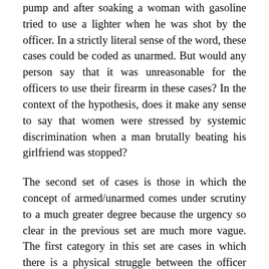pump and after soaking a woman with gasoline tried to use a lighter when he was shot by the officer. In a strictly literal sense of the word, these cases could be coded as unarmed. But would any person say that it was unreasonable for the officers to use their firearm in these cases? In the context of the hypothesis, does it make any sense to say that women were stressed by systemic discrimination when a man brutally beating his girlfriend was stopped?
The second set of cases is those in which the concept of armed/unarmed comes under scrutiny to a much greater degree because the urgency so clear in the previous set are much more vague. The first category in this set are cases in which there is a physical struggle between the officer and the victim and at some point the victim grabs for